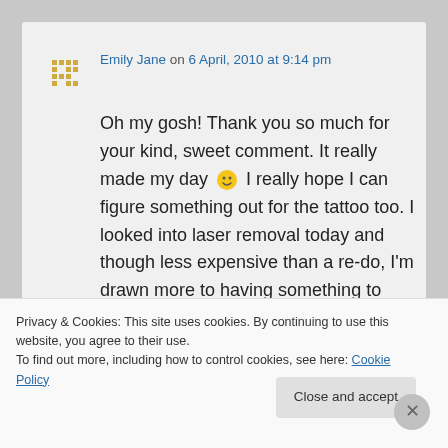[Figure (illustration): Avatar/profile icon for Emily Jane — a small grid-like crosshatch pattern in golden/yellow color]
Emily Jane on 6 April, 2010 at 9:14 pm
Oh my gosh! Thank you so much for your kind, sweet comment. It really made my day 🙂 I really hope I can figure something out for the tattoo too. I looked into laser removal today and though less expensive than a re-do, I'm drawn more to having something to show what I talked about. 🙂
Really looking forward to checking out your...
Privacy & Cookies: This site uses cookies. By continuing to use this website, you agree to their use.
To find out more, including how to control cookies, see here: Cookie Policy
Close and accept